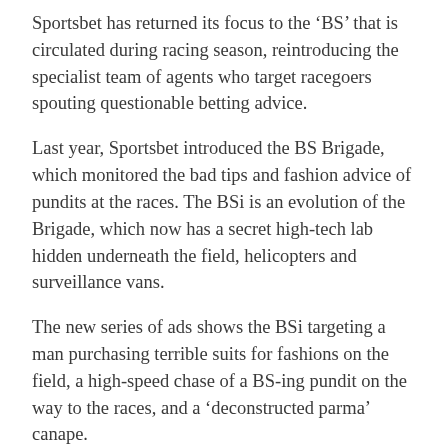Sportsbet has returned its focus to the ‘BS’ that is circulated during racing season, reintroducing the specialist team of agents who target racegoers spouting questionable betting advice.
Last year, Sportsbet introduced the BS Brigade, which monitored the bad tips and fashion advice of pundits at the races. The BSi is an evolution of the Brigade, which now has a secret high-tech lab hidden underneath the field, helicopters and surveillance vans.
The new series of ads shows the BSi targeting a man purchasing terrible suits for fashions on the field, a high-speed chase of a BS-ing pundit on the way to the races, and a ‘deconstructed parma’ canape.